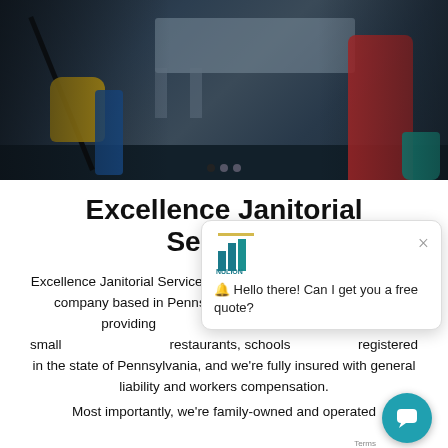[Figure (photo): Banner photo of cleaning workers mopping a floor with yellow gloves, blue bag, and teal bucket. A person in red jacket visible on the right.]
Excellence Janitorial Services
Excellence Janitorial Services is a premium commercial cleaning company based in Pennsylvania. At EJS, we focus on providing services for small restaurants, schools registered in the state of Pennsylvania, and we're fully insured with general liability and workers compensation.

Most importantly, we're family-owned and operated